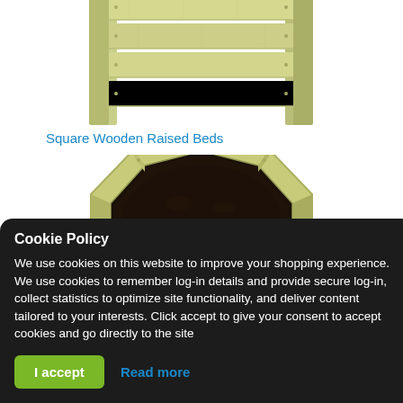[Figure (photo): Partial view of a square wooden raised garden bed (light green/treated wood) showing horizontal wooden planks and corner posts, cropped at top]
Square Wooden Raised Beds
[Figure (photo): Octagonal wooden raised garden planter (light yellow-green treated wood) filled with dark soil/compost, viewed from slightly above, showing octagonal rim and wooden panel sides]
Cookie Policy
We use cookies on this website to improve your shopping experience. We use cookies to remember log-in details and provide secure log-in, collect statistics to optimize site functionality, and deliver content tailored to your interests. Click accept to give your consent to accept cookies and go directly to the site
I accept
Read more